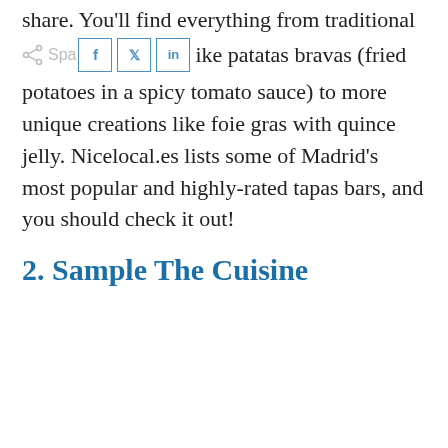share. You'll find everything from traditional Spanish tapas like patatas bravas (fried potatoes in a spicy tomato sauce) to more unique creations like foie gras with quince jelly. Nicelocal.es lists some of Madrid's most popular and highly-rated tapas bars, and you should check it out!
2. Sample The Cuisine